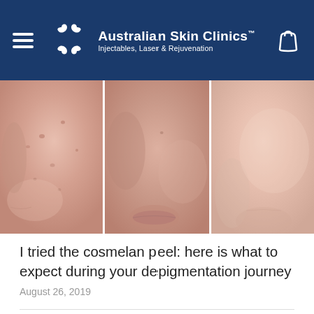Australian Skin Clinics™ — Injectables, Laser & Rejuvenation
[Figure (photo): Three side-by-side close-up photos of a person's face/cheek area showing skin before and after cosmelan peel depigmentation treatment. Left panel shows skin with visible pigmentation spots, middle panel shows skin during treatment, right panel shows clearer skin after treatment.]
I tried the cosmelan peel: here is what to expect during your depigmentation journey
August 26, 2019